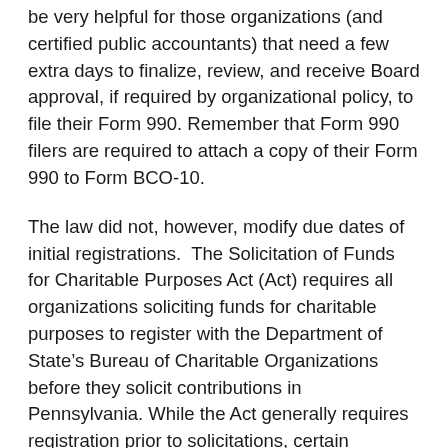be very helpful for those organizations (and certified public accountants) that need a few extra days to finalize, review, and receive Board approval, if required by organizational policy, to file their Form 990. Remember that Form 990 filers are required to attach a copy of their Form 990 to Form BCO-10.
The law did not, however, modify due dates of initial registrations. The Solicitation of Funds for Charitable Purposes Act (Act) requires all organizations soliciting funds for charitable purposes to register with the Department of State's Bureau of Charitable Organizations before they solicit contributions in Pennsylvania. While the Act generally requires registration prior to solicitations, certain organizations are specifically excluded or exempted.